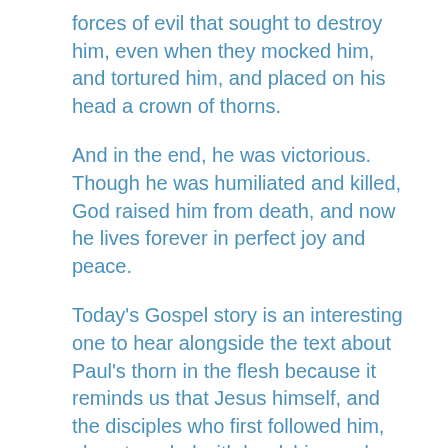forces of evil that sought to destroy him, even when they mocked him, and tortured him, and placed on his head a crown of thorns.
And in the end, he was victorious. Though he was humiliated and killed, God raised him from death, and now he lives forever in perfect joy and peace.
Today's Gospel story is an interesting one to hear alongside the text about Paul's thorn in the flesh because it reminds us that Jesus himself, and the disciples who first followed him, also struggled with hardships and challenges in their ministry. Jesus was disrespected and rejected by the people of his own hometown. It was such a devastating reception, and such a lack of faith, that he could hardly do any miracles there!
And then he sent out the first...